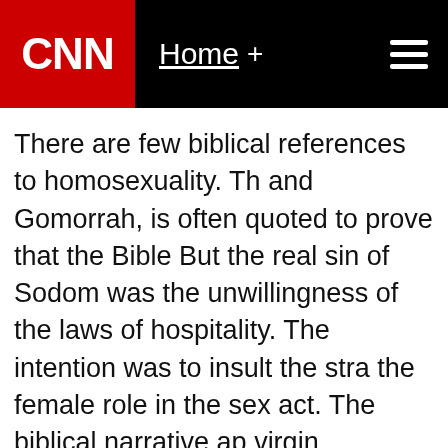CNN | Home +
There are few biblical references to homosexuality. Th... and Gomorrah, is often quoted to prove that the Bible... But the real sin of Sodom was the unwillingness of the... laws of hospitality. The intention was to insult the stra... the female role in the sex act. The biblical narrative ap... virgin daughters to satisfy the sexual demands of the... "This is the word of the Lord"? When the Bible is quot... for the one quoting to read the text in its entirety.
Leviticus, in the Hebrew Scriptures, condemns homos... males. Yet, "abomination", the word Leviticus uses to... the same word used to describe a menstruating woma... source in the battle to condemn homosexuality ( 1 Cor... Romans 1: 26-27). But homosexual activity was regard... punishment visited upon idolaters by God because of... Homosexuality was not the sin but the punishment.
1 Corinthians 6:9-11, Paul gave a list of those who wou... of God. That list included the immoral, idolators, adult...